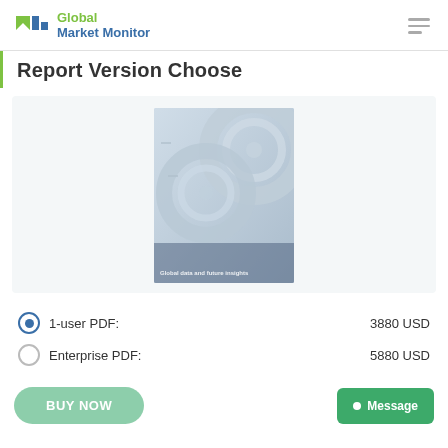Global Market Monitor
Report Version Choose
[Figure (illustration): Market Reports book/report cover image with metallic 3D mechanical parts design and text 'Market Reports' at the bottom]
1-user PDF:   3880 USD
Enterprise PDF:   5880 USD
BUY NOW
Message